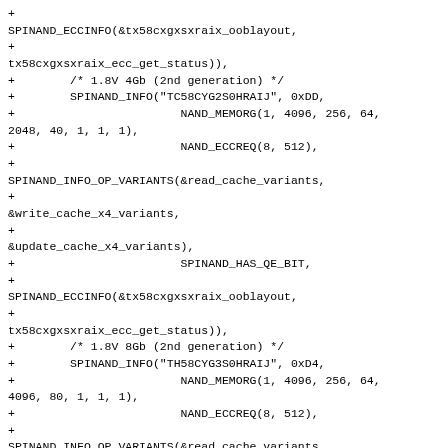+
SPINAND_ECCINFO(&tx58cxgxsxraix_ooblayout,
+
tx58cxgxsxraix_ecc_get_status)),
+        /* 1.8V 4Gb (2nd generation) */
+        SPINAND_INFO("TC58CYG2S0HRAIJ", 0xDD,
+                        NAND_MEMORG(1, 4096, 256, 64,
2048, 40, 1, 1, 1),
+                        NAND_ECCREQ(8, 512),
+
SPINAND_INFO_OP_VARIANTS(&read_cache_variants,
+
&write_cache_x4_variants,
+
&update_cache_x4_variants),
+                        SPINAND_HAS_QE_BIT,
+
SPINAND_ECCINFO(&tx58cxgxsxraix_ooblayout,
+
tx58cxgxsxraix_ecc_get_status)),
+        /* 1.8V 8Gb (2nd generation) */
+        SPINAND_INFO("TH58CYG3S0HRAIJ", 0xD4,
+                        NAND_MEMORG(1, 4096, 256, 64,
4096, 80, 1, 1, 1),
+                        NAND_ECCREQ(8, 512),
+
SPINAND_INFO_OP_VARIANTS(&read_cache_variants,
+
&write_cache_x4_variants,
+